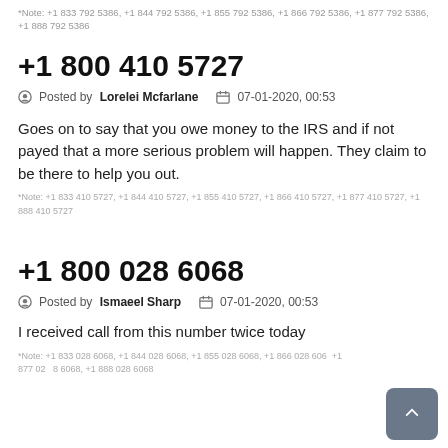*Note: +1 833 792 5386, +1 844 792 5386, +1 855 792 5386, +1 866 792 5386, +1 877 792 5386, +1 888 792 5386
+1 800 410 5727
Posted by Lorelei Mcfarlane   07-01-2020, 00:53
Goes on to say that you owe money to the IRS and if not payed that a more serious problem will happen. They claim to be there to help you out.
*Note: +1 833 410 5727, +1 844 410 5727, +1 855 410 5727, +1 866 410 5727, +1 877 410 5727, +1 888 410 5727
+1 800 028 6068
Posted by Ismaeel Sharp   07-01-2020, 00:53
I received call from this number twice today
*Note: +1 833 028 6068, +1 844 028 6068, +1 855 028 6068, +1 866 028 6068, +1 877 028 6068, +1 888 028 6068